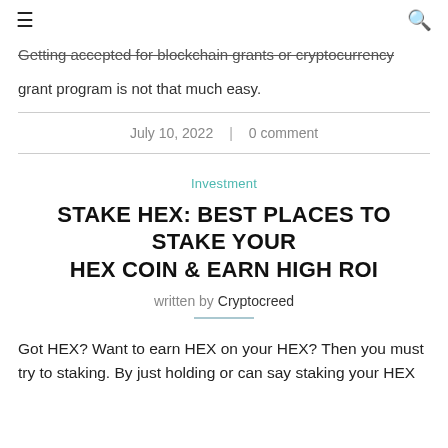≡  🔍
Getting accepted for blockchain grants or cryptocurrency grant program is not that much easy.
July 10, 2022  |  0 comment
Investment
STAKE HEX: BEST PLACES TO STAKE YOUR HEX COIN & EARN HIGH ROI
written by Cryptocreed
Got HEX? Want to earn HEX on your HEX? Then you must try to staking. By just holding or can say staking your HEX